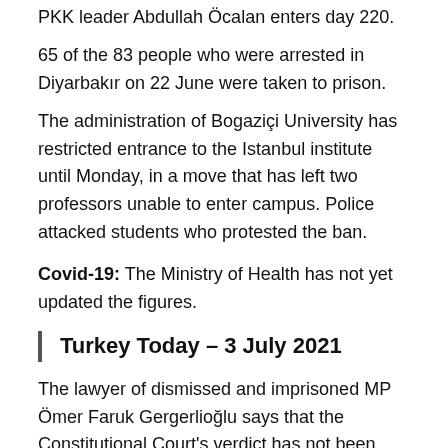PKK leader Abdullah Öcalan enters day 220.
65 of the 83 people who were arrested in Diyarbakır on 22 June were taken to prison.
The administration of Bogaziçi University has restricted entrance to the Istanbul institute until Monday, in a move that has left two professors unable to enter campus. Police attacked students who protested the ban.
Covid-19: The Ministry of Health has not yet updated the figures.
Turkey Today – 3 July 2021
The lawyer of dismissed and imprisoned MP Ömer Faruk Gergerlioğlu says that the Constitutional Court's verdict has not been served on him or the local court. However, the press has the document.
Dismissed Co-Mayor of Eğil Municipality in Diyarbakır was sentenced to 6 years and 3 months in prison.